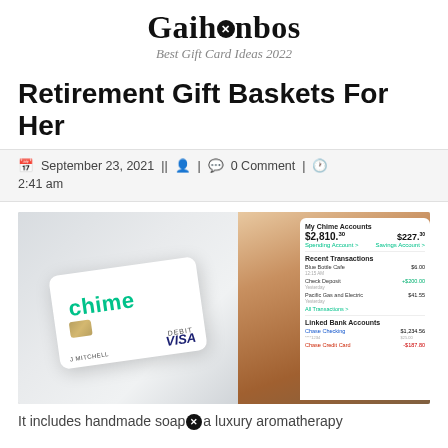Gaihanbos
Best Gift Card Ideas 2022
Retirement Gift Baskets For Her
September 23, 2021 || ⦁ | ⬽ 0 Comment | ⏰ 2:41 am
[Figure (photo): A Chime debit Visa card held in a hand on the left, and a phone displaying the Chime app with account balances and recent transactions on the right.]
It includes handmade soap a luxury aromatherapy